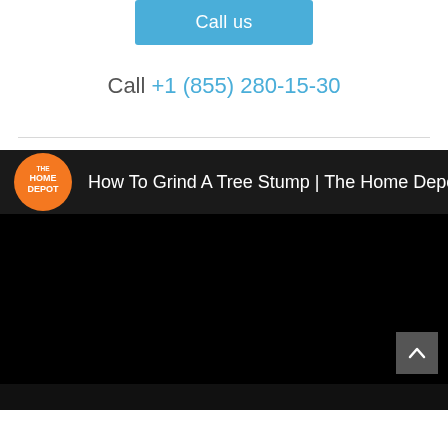Call us
Call +1 (855) 280-15-30
[Figure (screenshot): Embedded YouTube video thumbnail showing The Home Depot channel logo and video title 'How To Grind A Tree Stump | The Home Depot' on a dark background]